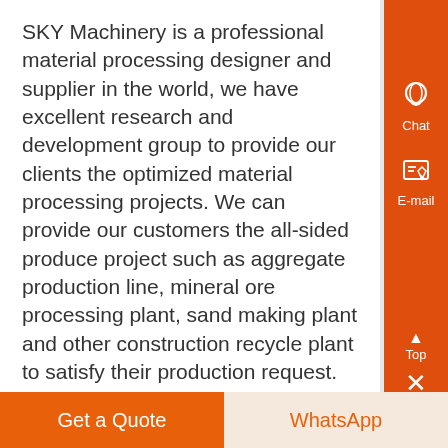SKY Machinery is a professional material processing designer and supplier in the world, we have excellent research and development group to provide our clients the optimized material processing projects. We can provide our customers the all-sided produce project such as aggregate production line, mineral ore processing plant, sand making plant and other construction recycle plant to satisfy their production request.
Leave Your Needs
If you can not chat online or send an e-mail at the moment, you can fill out the following form,